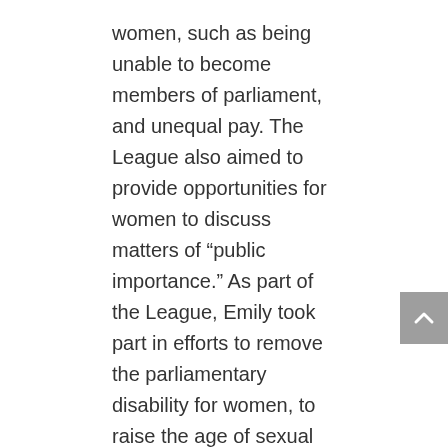women, such as being unable to become members of parliament, and unequal pay. The League also aimed to provide opportunities for women to discuss matters of “public importance.” As part of the League, Emily took part in efforts to remove the parliamentary disability for women, to raise the age of sexual consent (which was 16) to the same age a girl could consent to her marriage (21), and to improve the working conditions of factory women in Auckland.
In Auckland, Gibson directed her efforts towards addressing the disparities in treatment between male and female school-teachers. One resolution proposed by Gibson in a 1908 AWPL